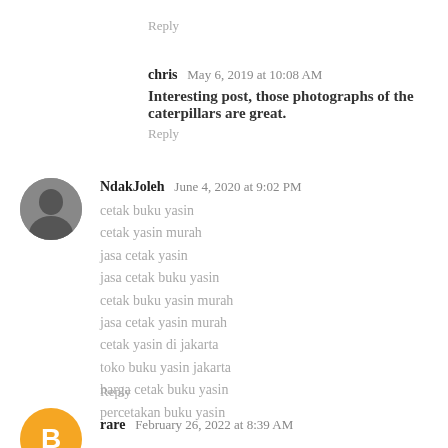Reply
chris  May 6, 2019 at 10:08 AM
Interesting post, those photographs of the caterpillars are great.
Reply
NdakJoleh  June 4, 2020 at 9:02 PM
cetak buku yasin
cetak yasin murah
jasa cetak yasin
jasa cetak buku yasin
cetak buku yasin murah
jasa cetak yasin murah
cetak yasin di jakarta
toko buku yasin jakarta
harga cetak buku yasin
percetakan buku yasin
Reply
[Figure (photo): Avatar photo of NdakJoleh commenter]
rare  February 26, 2022 at 8:39 AM
[Figure (logo): Orange circle avatar with letter B for commenter rare]